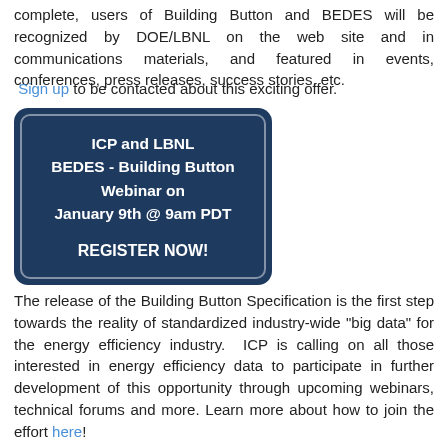complete, users of Building Button and BEDES will be recognized by DOE/LBNL on the web site and in communications materials, and featured in events, conferences, press releases, success stories, etc. Sign up to be contacted about this exciting offer.
[Figure (infographic): Dark navy blue rounded rectangle banner reading: ICP and LBNL BEDES - Building Button Webinar on January 9th @ 9am PDT REGISTER NOW!]
The release of the Building Button Specification is the first step towards the reality of standardized industry-wide "big data" for the energy efficiency industry.  ICP is calling on all those interested in energy efficiency data to participate in further development of this opportunity through upcoming webinars, technical forums and more. Learn more about how to join the effort here!